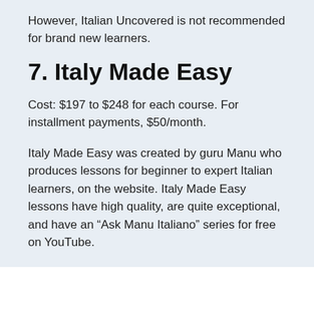However, Italian Uncovered is not recommended for brand new learners.
7. Italy Made Easy
Cost: $197 to $248 for each course. For installment payments, $50/month.
Italy Made Easy was created by guru Manu who produces lessons for beginner to expert Italian learners, on the website. Italy Made Easy lessons have high quality, are quite exceptional, and have an “Ask Manu Italiano” series for free on YouTube.
x